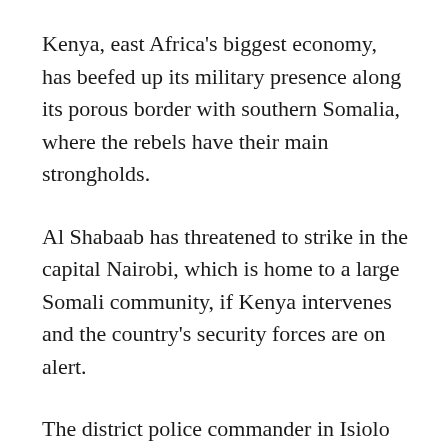Kenya, east Africa's biggest economy, has beefed up its military presence along its porous border with southern Somalia, where the rebels have their main strongholds.
Al Shabaab has threatened to strike in the capital Nairobi, which is home to a large Somali community, if Kenya intervenes and the country's security forces are on alert.
The district police commander in Isiolo district, Marius Tim, said Wednesday that anti-terrorism police had raided a village in the center of Kenya and arrested two people accused of helping a top al Shabaab official get Kenyan citizenship.
Additionally arrested by Abdi Gabdain Mogadishu and Nuur Ali…